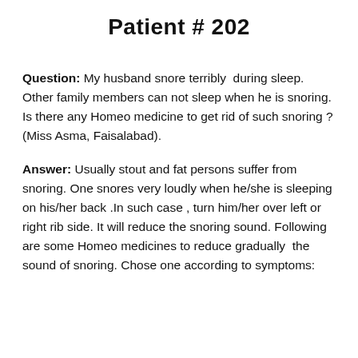Patient # 202
Question: My husband snore terribly during sleep. Other family members can not sleep when he is snoring. Is there any Homeo medicine to get rid of such snoring ? (Miss Asma, Faisalabad).
Answer: Usually stout and fat persons suffer from snoring. One snores very loudly when he/she is sleeping on his/her back .In such case , turn him/her over left or right rib side. It will reduce the snoring sound. Following are some Homeo medicines to reduce gradually the sound of snoring. Chose one according to symptoms: